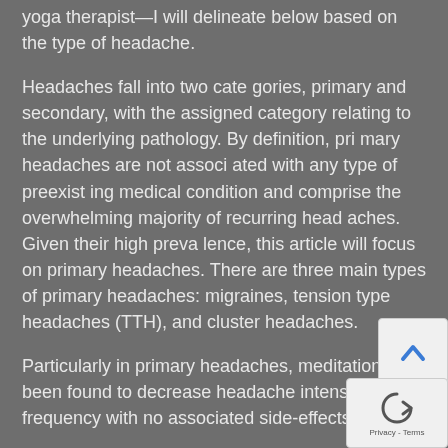yoga therapist—I will delineate below based on the type of headache.
Headaches fall into two cate gories, primary and secondary, with the assigned category relating to the underlying pathology. By definition, pri mary headaches are not associ ated with any type of preexist ing medical condition and comprise the overwhelming majority of recurring head aches. Given their high preva lence, this article will focus on primary headaches. There are three main types of primary headaches: migraines, tension type headaches (TTH), and cluster headaches.
Particularly in primary headaches, meditation has been found to decrease headache intensity and frequency with no associated side-effects.